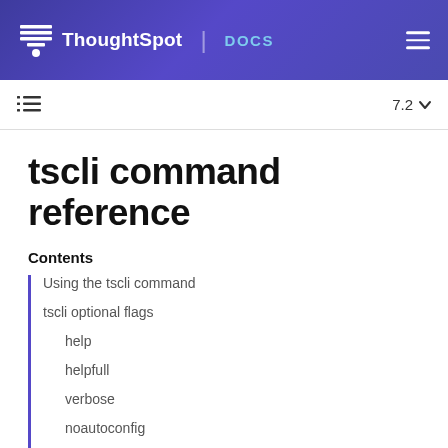ThoughtSpot | DOCS
tscli command reference
Contents
Using the tscli command
tscli optional flags
help
helpfull
verbose
noautoconfig
autoconfig
yes
cluster
zoo